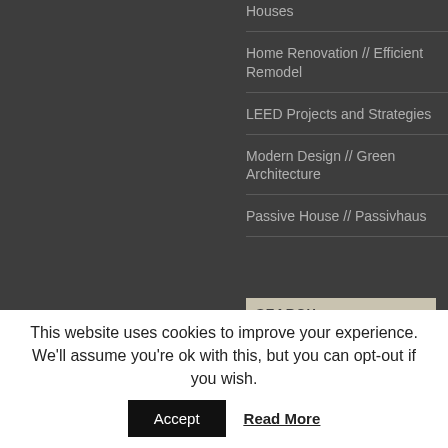Houses
Home Renovation // Efficient Remodel
LEED Projects and Strategies
Modern Design // Green Architecture
Passive House // Passivhaus
SEARCH
powered by Google
This website uses cookies to improve your experience. We'll assume you're ok with this, but you can opt-out if you wish.
Accept
Read More